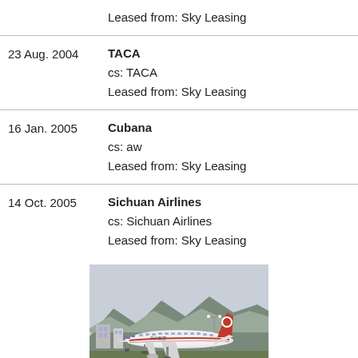| Date | Operator/Details |
| --- | --- |
|  | Leased from: Sky Leasing |
| 23 Aug. 2004 | TACA
cs: TACA
Leased from: Sky Leasing |
| 16 Jan. 2005 | Cubana
cs: aw
Leased from: Sky Leasing |
| 14 Oct. 2005 | Sichuan Airlines
cs: Sichuan Airlines
Leased from: Sky Leasing |
[Figure (photo): A Sichuan Airlines Airbus aircraft in red and white livery taxiing on a runway, with mountains and buildings in the background.]